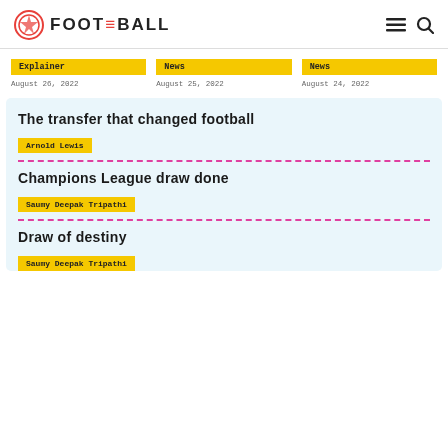FOOT THE BALL
Explainer — August 26, 2022
News — August 25, 2022
News — August 24, 2022
The transfer that changed football
Arnold Lewis
Champions League draw done
Saumy Deepak Tripathi
Draw of destiny
Saumy Deepak Tripathi